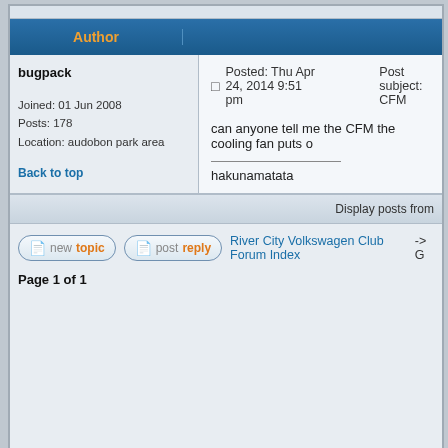| Author |  |
| --- | --- |
| bugpack

Joined: 01 Jun 2008
Posts: 178
Location: audobon park area

Back to top | Posted: Thu Apr 24, 2014 9:51 pm    Post subject: CFM

can anyone tell me the CFM the cooling fan puts o...

________________
hakunamatata |
Display posts from
new topic    post reply    River City Volkswagen Club Forum Index -> G
Page 1 of 1